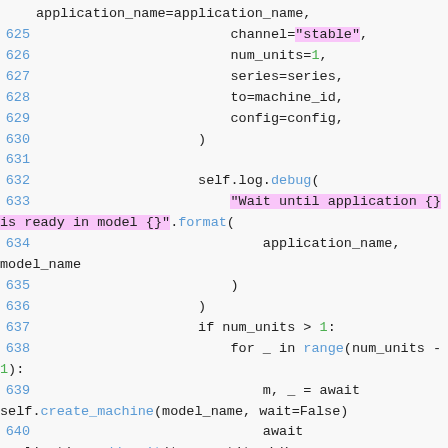[Figure (screenshot): Python source code snippet showing lines 625-643, with syntax highlighting. Line numbers in blue, string literals highlighted in pink/magenta background, numeric literals in green, function/method names in blue. Code involves Juju model deployment logic including channel, num_units, series, to, config parameters, self.log.debug call, if/for loop, create_machine, add_unit, and JujuModelWatcher.wait_for calls.]